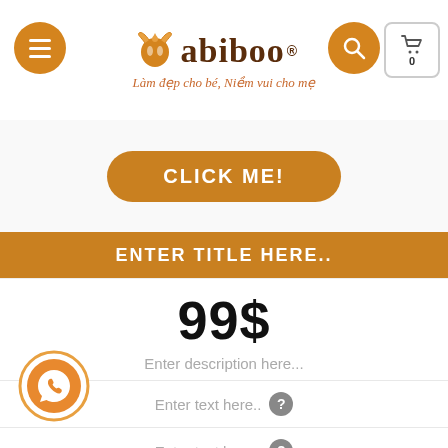[Figure (logo): Babiboo brand logo with butterfly/bee icon, tagline in Vietnamese: Làm đẹp cho bé, Niềm vui cho mẹ]
CLICK ME!
ENTER TITLE HERE..
99$
Enter description here...
Enter text here..
Enter text here..
Enter text here..
Enter text here..